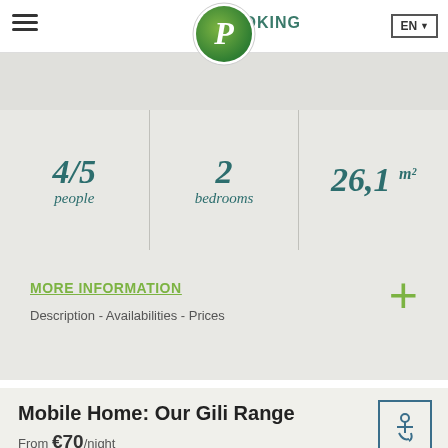BOOKING  EN
4/5 people  |  2 bedrooms  |  26,1 m²
MORE INFORMATION
Description - Availabilities - Prices
Mobile Home: Our Gili Range
From €70/night